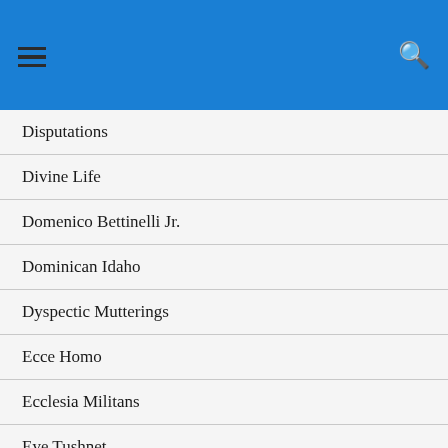Disputations
Divine Life
Domenico Bettinelli Jr.
Dominican Idaho
Dyspectic Mutterings
Ecce Homo
Ecclesia Militans
Eve Tushnet
Eye of the Tiber